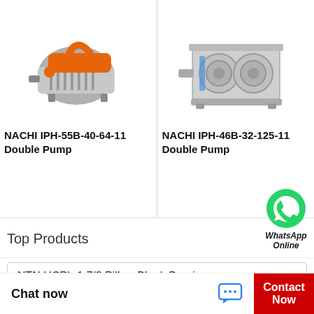[Figure (photo): NACHI IPH-55B-40-64-11 Double Pump — orange and silver vacuum/hydraulic pump on white background]
NACHI IPH-55B-40-64-11 Double Pump
[Figure (photo): NACHI IPH-46B-32-125-11 Double Pump — silver metallic double pump on white background]
NACHI IPH-46B-32-125-11 Double Pump
Top Products
[Figure (logo): WhatsApp green circle logo icon with phone handset]
WhatsApp Online
NTN UCPL-1.7/8 Pillow Block Bearings
KOYO TRC-2435 Thrust Roller Bearing
Chat now
Contact Now